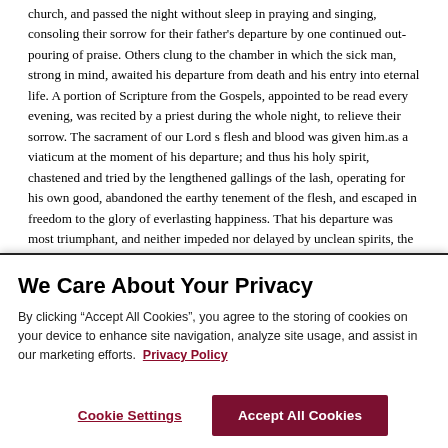church, and passed the night without sleep in praying and singing, consoling their sorrow for their father's departure by one continued out-pouring of praise. Others clung to the chamber in which the sick man, strong in mind, awaited his departure from death and his entry into eternal life. A portion of Scripture from the Gospels, appointed to be read every evening, was recited by a priest during the whole night, to relieve their sorrow. The sacrament of our Lord s flesh and blood was given him.as a viaticum at the moment of his departure; and thus his holy spirit, chastened and tried by the lengthened gallings of the lash, operating for his own good, abandoned the earthy tenement of the flesh, and escaped in freedom to the glory of everlasting happiness. That his departure was most triumphant, and neither impeded nor delayed by unclean spirits, the psalm which
We Care About Your Privacy
By clicking “Accept All Cookies”, you agree to the storing of cookies on your device to enhance site navigation, analyze site usage, and assist in our marketing efforts. Privacy Policy
Cookie Settings
Accept All Cookies